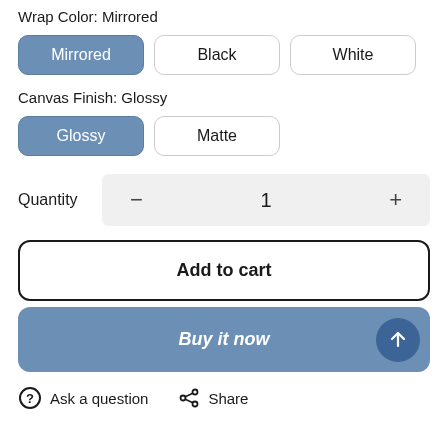Wrap Color: Mirrored
Mirrored (selected), Black, White
Canvas Finish: Glossy
Glossy (selected), Matte
Quantity 1
Add to cart
Buy it now
Ask a question  Share